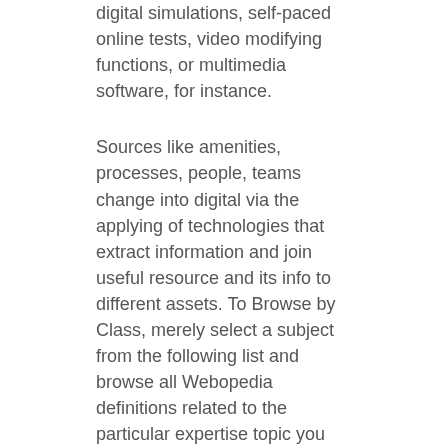digital simulations, self-paced online tests, video modifying functions, or multimedia software, for instance.
Sources like amenities, processes, people, teams change into digital via the applying of technologies that extract information and join useful resource and its info to different assets. To Browse by Class, merely select a subject from the following list and browse all Webopedia definitions related to the particular expertise topic you need to learn extra about. People all around the world are connected with family and friends or are making new pals through the use of numerous functions on the internet, which allow them to reside a nearly social life and be connected to their loved ones by means of an environment friendly medium.
Tags: gartner, glossary